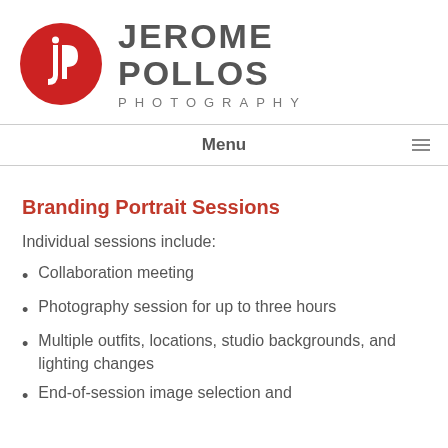[Figure (logo): Jerome Pollos Photography logo: red circle with stylized 'jp' monogram in white, next to large gray text 'JEROME POLLOS' and smaller spaced text 'PHOTOGRAPHY']
Menu
Branding Portrait Sessions
Individual sessions include:
Collaboration meeting
Photography session for up to three hours
Multiple outfits, locations, studio backgrounds, and lighting changes
End-of-session image selection and